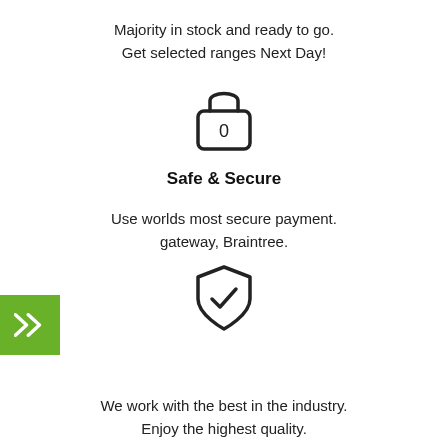Majority in stock and ready to go.
Get selected ranges Next Day!
[Figure (illustration): Padlock icon with keyhole showing letter O]
Safe & Secure
Use worlds most secure payment.
gateway, Braintree.
[Figure (illustration): Shield with checkmark icon]
We work with the best in the industry.
Enjoy the highest quality.
[Figure (illustration): Radiator / heating panel icon]
Radiator Valves